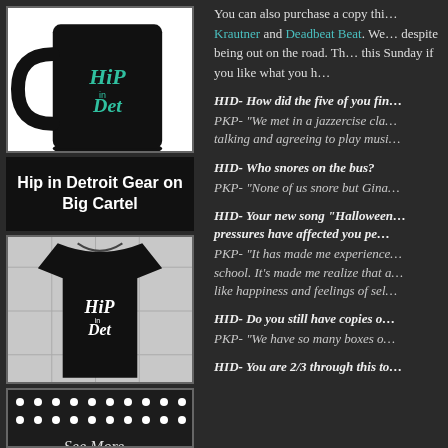[Figure (photo): Black ceramic mug with teal 'Hip in Det' logo on white background]
Hip in Detroit Gear on Big Cartel
[Figure (photo): Black t-shirt with white 'Hip in Det' logo on tile background]
[Figure (photo): Partially visible item with white dots pattern at bottom]
You can also purchase a copy thi... Krautner and Deadbeat Beat. We... despite being out on the road. Th... this Sunday if you like what you h...
HID- How did the five of you fin...
PKP- "We met in a jazzercise cla... talking and agreeing to play musi...
HID- Who snores on the bus?
PKP- "None of us snore but Gina...
HID- Your new song "Halloween... pressures have affected you pe...
PKP- "It has made me experience... school. It's made me realize that a... like happiness and feelings of sel...
HID- Do you still have copies o...
PKP- "We have so many boxes o...
HID- You are 2/3 through this to...